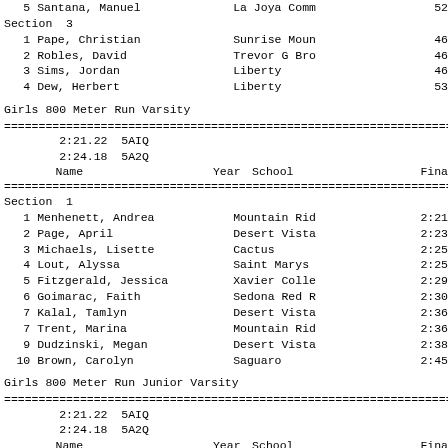| Place | Name | School | Finals |
| --- | --- | --- | --- |
| 5 | Santana, Manuel | La Joya Comm | 52 |
Section  3
| Place | Name | School | Finals |
| --- | --- | --- | --- |
| 1 | Pape, Christian | Sunrise Moun | 46 |
| 2 | Robles, David | Trevor G Bro | 46 |
| 3 | Sims, Jordan | Liberty | 46 |
| 4 | Dew, Herbert | Liberty | 53 |
Girls 800 Meter Run Varsity
2:21.22  5AIQ
2:24.18  5A2Q
| Name | Year | School | Finals |
| --- | --- | --- | --- |
| Menhenett, Andrea |  | Mountain Rid | 2:21 |
| Page, April |  | Desert Vista | 2:23 |
| Michaels, Lisette |  | Cactus | 2:25 |
| Lout, Alyssa |  | Saint Marys | 2:25 |
| Fitzgerald, Jessica |  | Xavier Colle | 2:29 |
| Goimarac, Faith |  | Sedona Red R | 2:30 |
| Kalal, Tamlyn |  | Desert Vista | 2:36 |
| Trent, Marina |  | Mountain Rid | 2:36 |
| Dudzinski, Megan |  | Desert Vista | 2:38 |
| Brown, Carolyn |  | Saguaro | 2:45 |
Girls 800 Meter Run Junior Varsity
2:21.22  5AIQ
2:24.18  5A2Q
| Name | Year | School | Finals |
| --- | --- | --- | --- |
| Miramontes, Denise |  | La Joya Comm | 2:44 |
| Storck, Becca |  | Cactus Shado | 2:50 |
| Dayna, Wilson |  | Copper Canyo | 2:58 |
| Vanessa, Garcia |  | Centennial | 3:00 |